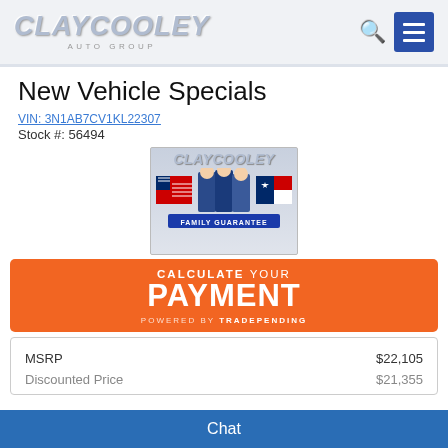Clay Cooley Auto Group
New Vehicle Specials
VIN: 3N1AB7CV1KL22307
Stock #: 56494
[Figure (logo): Clay Cooley Family Guarantee badge with three people and American/Texas flags]
[Figure (infographic): Orange banner: CALCULATE YOUR PAYMENT powered by TRADEPENDING]
|  |  |
| --- | --- |
| MSRP | $22,105 |
| Discounted Price | $21,355 |
Chat